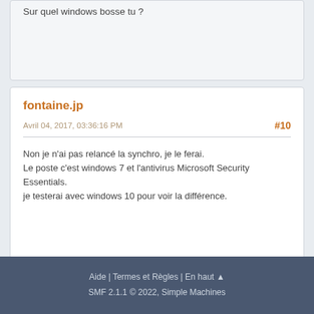Sur quel windows bosse tu ?
fontaine.jp
Avril 04, 2017, 03:36:16 PM
#10
Non je n'ai pas relancé la synchro, je le ferai.
Le poste c'est windows 7 et l'antivirus Microsoft Security Essentials.
je testerai avec windows 10 pour voir la différence.
EN HAUT   Pages:  [1]   ACTIONS DE L'UTILISATEUR
Aide | Termes et Règles | En haut ▲
SMF 2.1.1 © 2022, Simple Machines